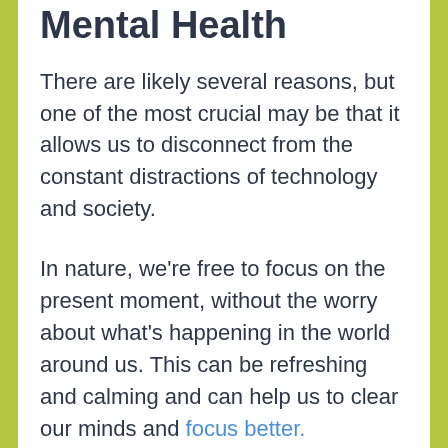Mental Health
There are likely several reasons, but one of the most crucial may be that it allows us to disconnect from the constant distractions of technology and society.
In nature, we're free to focus on the present moment, without the worry about what's happening in the world around us. This can be refreshing and calming and can help us to clear our minds and focus better.
Additionally, nature provides a sense of awe and wonder that is often missing in our lives. We're so used to seeing the same things day after day that we can lose sight of the beauty around us. By